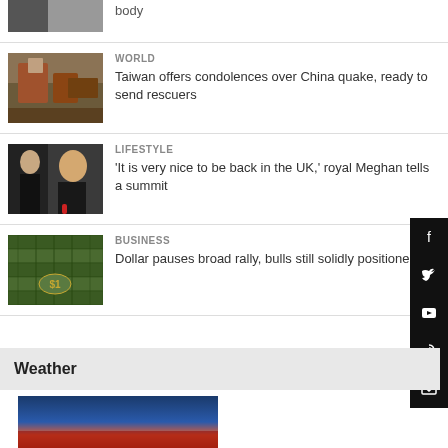body
[Figure (photo): Partial image of a person, cropped at top]
WORLD
Taiwan offers condolences over China quake, ready to send rescuers
[Figure (photo): Earthquake destruction, collapsed building]
LIFESTYLE
'It is very nice to be back in the UK,' royal Meghan tells a summit
[Figure (photo): Two people at an event, one appears to be Meghan Markle]
BUSINESS
Dollar pauses broad rally, bulls still solidly positioned
[Figure (photo): Dollar bills arranged in a grid pattern]
[Figure (illustration): Social media icons sidebar: Facebook, Twitter, YouTube, RSS, Email]
Weather
[Figure (photo): Weather image, night cityscape with reddish tones]